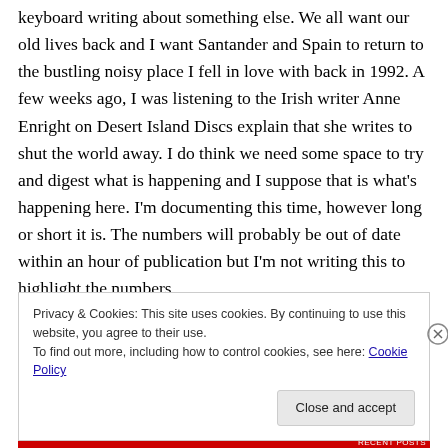keyboard writing about something else. We all want our old lives back and I want Santander and Spain to return to the bustling noisy place I fell in love with back in 1992. A few weeks ago, I was listening to the Irish writer Anne Enright on Desert Island Discs explain that she writes to shut the world away. I do think we need some space to try and digest what is happening and I suppose that is what's happening here. I'm documenting this time, however long or short it is. The numbers will probably be out of date within an hour of publication but I'm not writing this to highlight the numbers.
Privacy & Cookies: This site uses cookies. By continuing to use this website, you agree to their use. To find out more, including how to control cookies, see here: Cookie Policy
Close and accept